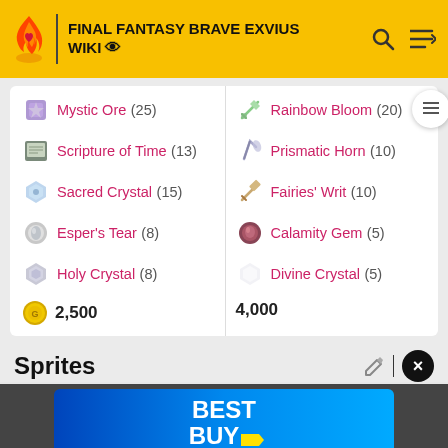FINAL FANTASY BRAVE EXVIUS WIKI
Mystic Ore (25)
Rainbow Bloom (20)
Scripture of Time (13)
Prismatic Horn (10)
Sacred Crystal (15)
Fairies' Writ (10)
Esper's Tear (8)
Calamity Gem (5)
Holy Crystal (8)
Divine Crystal (5)
2,500
4,000
Sprites
[Figure (screenshot): Best Buy advertisement banner]